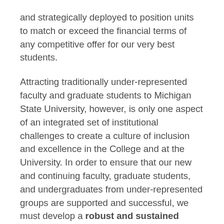and strategically deployed to position units to match or exceed the financial terms of any competitive offer for our very best students.
Attracting traditionally under-represented faculty and graduate students to Michigan State University, however, is only one aspect of an integrated set of institutional challenges to create a culture of inclusion and excellence in the College and at the University. In order to ensure that our new and continuing faculty, graduate students, and undergraduates from under-represented groups are supported and successful, we must develop a robust and sustained Inclusion Initiative. This initiative, led by our Associate Dean for Diversity, Inclusion, and